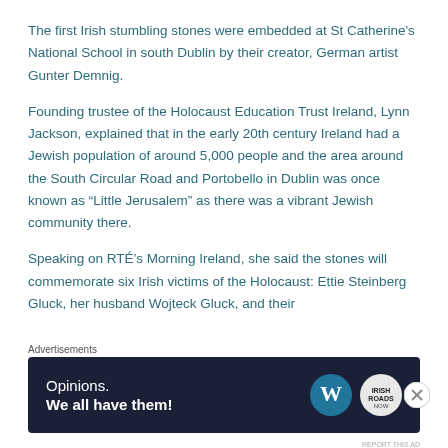The first Irish stumbling stones were embedded at St Catherine's National School in south Dublin by their creator, German artist Gunter Demnig.
Founding trustee of the Holocaust Education Trust Ireland, Lynn Jackson, explained that in the early 20th century Ireland had a Jewish population of around 5,000 people and the area around the South Circular Road and Portobello in Dublin was once known as “Little Jerusalem” as there was a vibrant Jewish community there.
Speaking on RTÉ’s Morning Ireland, she said the stones will commemorate six Irish victims of the Holocaust: Ettie Steinberg Gluck, her husband Wojteck Gluck, and their
Advertisements
[Figure (other): Advertisement banner: dark navy background with 'Opinions. We all have them!' text in white, WordPress logo and another circular logo on the right.]